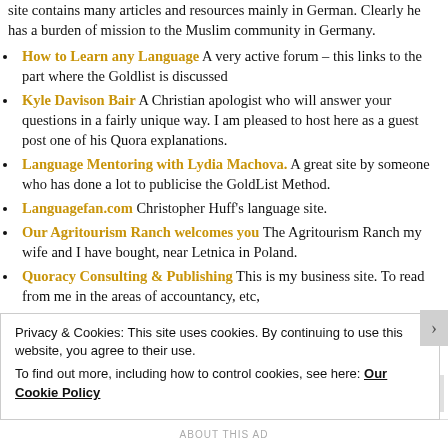site contains many articles and resources mainly in German. Clearly he has a burden of mission to the Muslim community in Germany.
How to Learn any Language A very active forum – this links to the part where the Goldlist is discussed
Kyle Davison Bair A Christian apologist who will answer your questions in a fairly unique way. I am pleased to host here as a guest post one of his Quora explanations.
Language Mentoring with Lydia Machova. A great site by someone who has done a lot to publicise the GoldList Method.
Languagefan.com Christopher Huff's language site.
Our Agritourism Ranch welcomes you The Agritourism Ranch my wife and I have bought, near Letnica in Poland.
Quoracy Consulting & Publishing This is my business site. To read from me in the areas of accountancy, etc,
Privacy & Cookies: This site uses cookies. By continuing to use this website, you agree to their use.
To find out more, including how to control cookies, see here: Our Cookie Policy
Close and accept